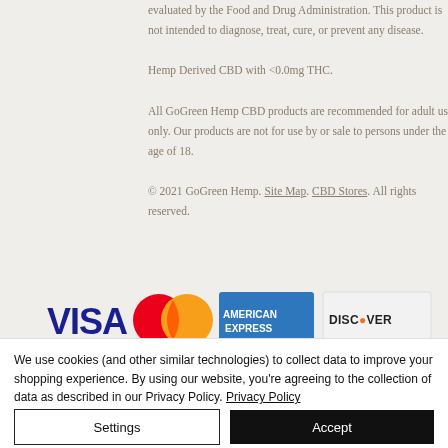evaluated by the Food and Drug Administration. This product is not intended to diagnose, treat, cure, or prevent any disease.

Hemp Derived CBD with <0.0mg THC.

All GoGreen Hemp CBD products are recommended for adult use only. Our products are not for use by or sale to persons under the age of 18.

© 2021 GoGreen Hemp. Site Map. CBD Stores. All rights reserved.
[Figure (logo): Payment method logos: Visa, Mastercard, American Express, Discover]
We use cookies (and other similar technologies) to collect data to improve your shopping experience. By using our website, you're agreeing to the collection of data as described in our Privacy Policy. Privacy Policy
Settings
Accept